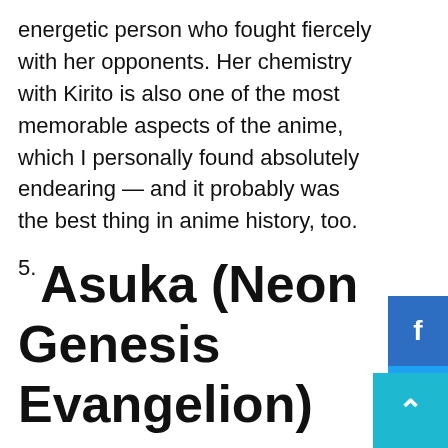energetic person who fought fiercely with her opponents. Her chemistry with Kirito is also one of the most memorable aspects of the anime, which I personally found absolutely endearing — and it probably was the best thing in anime history, too.
5. Asuka (Neon Genesis Evangelion)
Asuka is the pilot of Unit-02, and comes from a mixed heritage. She's always been a genius since her childhood and has been training to command the Evangelion unit since long ago. Asuka takes a lot of pride in being a pilot of the Eva unit, but tends to look down on others for thinking they are weak. Her red plugsuit has come to represent her